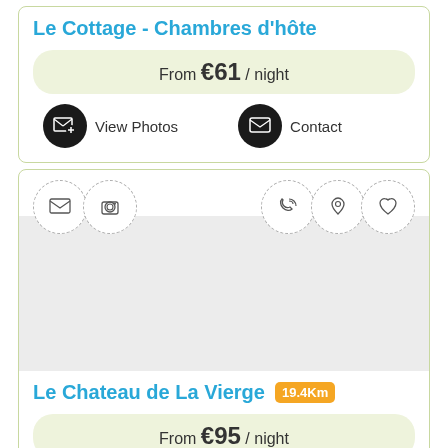Le Cottage - Chambres d'hôte
From €61 / night
View Photos   Contact
[Figure (screenshot): Second listing card with dashed circle icons (envelope, camera, phone, map pin, heart) at top, a photo area, and listing details below]
Le Chateau de La Vierge 19.4Km
From €95 / night
View Photos   Contact